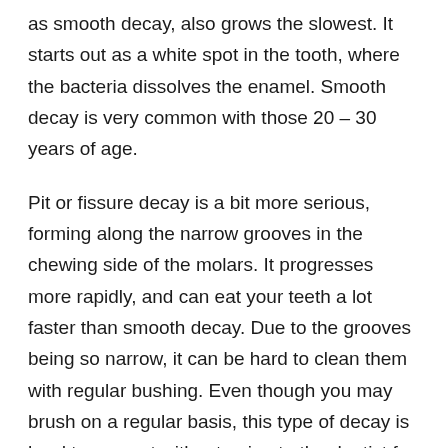as smooth decay, also grows the slowest. It starts out as a white spot in the tooth, where the bacteria dissolves the enamel. Smooth decay is very common with those 20 – 30 years of age.
Pit or fissure decay is a bit more serious, forming along the narrow grooves in the chewing side of the molars. It progresses more rapidly, and can eat your teeth a lot faster than smooth decay. Due to the grooves being so narrow, it can be hard to clean them with regular bushing. Even though you may brush on a regular basis, this type of decay is hard to prevent without going to the dentist for your regular checkups and cleaning.